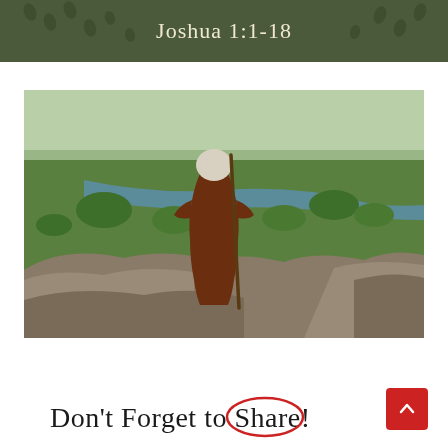Joshua 1:1-18
[Figure (photo): A robed figure with a staff and white head covering stands on rocky terrain overlooking a vast green valley with a river winding through it, viewed from behind.]
Don't Forget to Share!